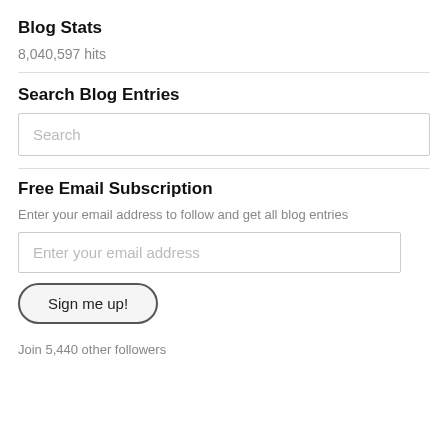Blog Stats
8,040,597 hits
Search Blog Entries
Search
Free Email Subscription
Enter your email address to follow and get all blog entries
Enter your email address
Sign me up!
Join 5,440 other followers